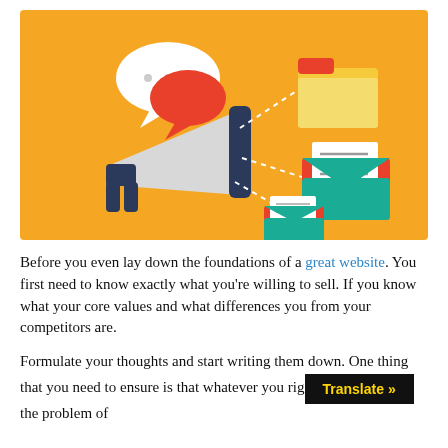[Figure (illustration): Flat-style illustration on orange background showing a megaphone/bullhorn pointing right with speech bubbles, a folder icon (yellow with red tab), and two envelope icons (teal/green with red document inserts). Dashed arrows radiate from the megaphone to the icons.]
Before you even lay down the foundations of a great website. You first need to know exactly what you're willing to sell. If you know what your core values and what differences you from your competitors are.
Formulate your thoughts and start writing them down. One thing that you need to ensure is that whatever you right [Translate »] the problem of